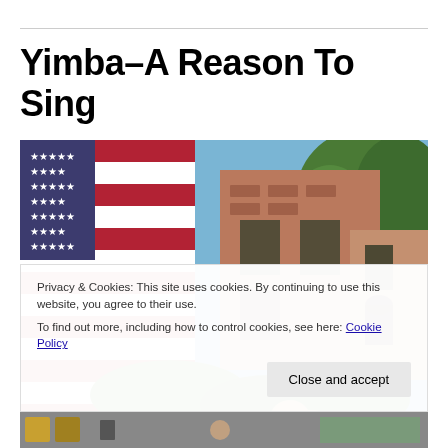Yimba–A Reason To Sing
[Figure (photo): Outdoor street scene with an American flag in the foreground on the left side, red brick rowhouses/townhouses in the middle and right background, green trees on the right, blue sky, and a partially visible person with blonde hair at the bottom center.]
Privacy & Cookies: This site uses cookies. By continuing to use this website, you agree to their use.
To find out more, including how to control cookies, see here: Cookie Policy
Close and accept
[Figure (photo): Partial bottom strip of a second outdoor photo, showing colorful elements at bottom.]